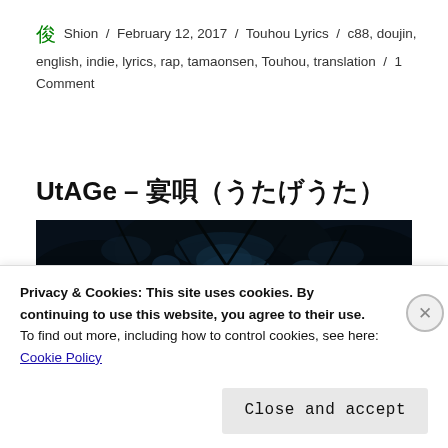🌿 Shion / February 12, 2017 / Touhou Lyrics / c88, doujin, english, indie, lyrics, rap, tamaonsen, Touhou, translation / 1 Comment
UtAGe – 宴唄（うたげうた）
[Figure (photo): Dark atmospheric photograph showing tree branches against a night sky with blue-tinted light patches]
Privacy & Cookies: This site uses cookies. By continuing to use this website, you agree to their use.
To find out more, including how to control cookies, see here: Cookie Policy
Close and accept